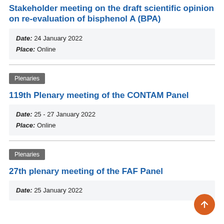Stakeholder meeting on the draft scientific opinion on re-evaluation of bisphenol A (BPA)
Date: 24 January 2022
Place: Online
Plenaries
119th Plenary meeting of the CONTAM Panel
Date: 25 - 27 January 2022
Place: Online
Plenaries
27th plenary meeting of the FAF Panel
Date: 25 January 2022